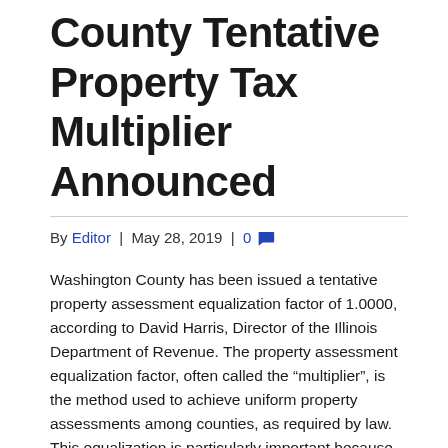County Tentative Property Tax Multiplier Announced
By Editor | May 28, 2019 | 0
Washington County has been issued a tentative property assessment equalization factor of 1.0000, according to David Harris, Director of the Illinois Department of Revenue. The property assessment equalization factor, often called the “multiplier”, is the method used to achieve uniform property assessments among counties, as required by law. This equalization is particularly important because some of the state’s 6,600 local taxing districts overlap into two or more counties (e.g. school districts, junior college districts, fire protection districts). If there were no equalization among counties, substantial inequities among taxpayers with comparable properties would result. State law requires property in Illinois to be assessed at one-third (1/3) of its market value. Farm property is assessed differently.